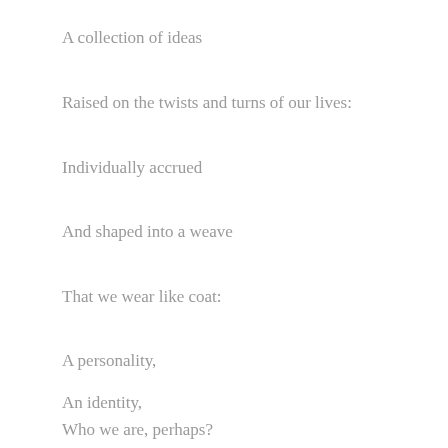A collection of ideas
Raised on the twists and turns of our lives:
Individually accrued
And shaped into a weave
That we wear like coat:
A personality,
An identity,
Who we are, perhaps?